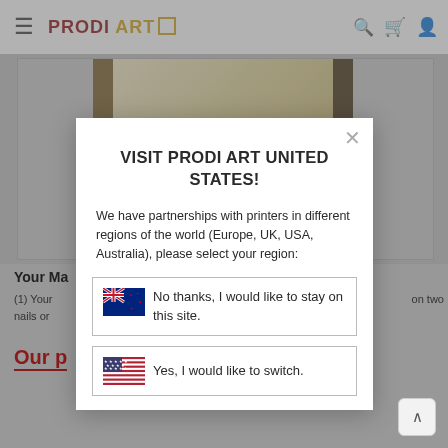PRODI ART
[Figure (screenshot): Prodi Art website screenshot showing a framed artwork product photo with navigation bar at top]
Your Ma
(1) Your ... on two nails or ...
Our p
VISIT PRODI ART UNITED STATES!
We have partnerships with printers in different regions of the world (Europe, UK, USA, Australia), please select your region:
No thanks, I would like to stay on this site.
Yes, I would like to switch.